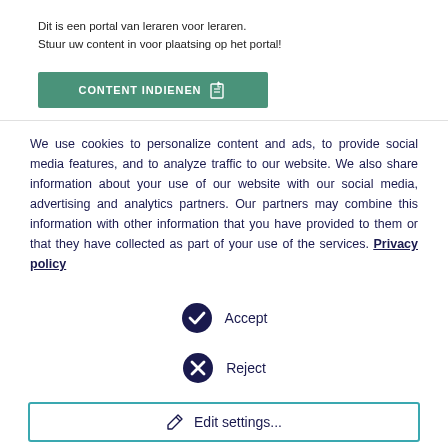Dit is een portal van leraren voor leraren.
Stuur uw content in voor plaatsing op het portal!
[Figure (screenshot): Green button labeled CONTENT INDIENEN with an upload icon]
We use cookies to personalize content and ads, to provide social media features, and to analyze traffic to our website. We also share information about your use of our website with our social media, advertising and analytics partners. Our partners may combine this information with other information that you have provided to them or that they have collected as part of your use of the services. Privacy policy
Accept
Reject
Edit settings...